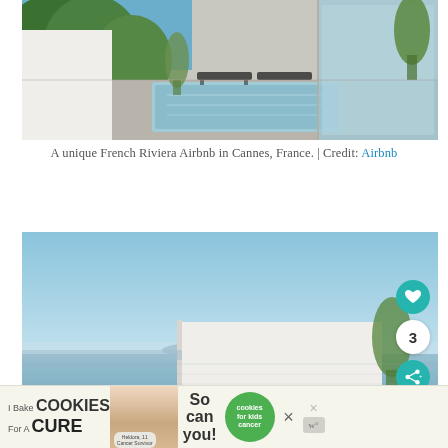[Figure (photo): A rooftop terrace with a plunge pool/jacuzzi, lounge chairs, potted plants, and a glass-walled interior space. Green hillside city view in the background. Modern white architecture. French Riviera Airbnb in Cannes, France.]
A unique French Riviera Airbnb in Cannes, France. | Credit: Airbnb
[Figure (photo): A rooftop or elevated terrace with a view of the sea, blue sky, and distant mountains/hills. Modern white architecture wall and plants visible. UI overlay with heart, number 3, and share buttons on the right side.]
[Figure (screenshot): Advertisement banner: 'I Bake COOKIES For A CURE' with photo of a girl, badge reading 'Heldora, 11 Cancer Survivor', text 'So can you!' and a green circle with 'cookies for kids cancer' logo, and close buttons.]